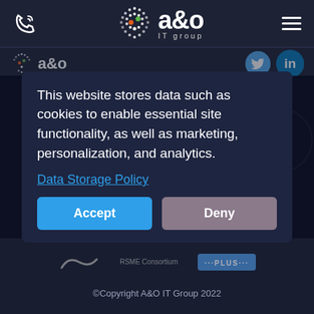[Figure (logo): A&O IT Group logo with dotted circle graphic, phone icon, and hamburger menu]
[Figure (screenshot): Cookie consent modal overlay on A&O IT Group website with social media icons visible]
This website stores data such as cookies to enable essential site functionality, as well as marketing, personalization, and analytics.
Data Storage Policy
Accept
Deny
©Copyright A&O IT Group 2022